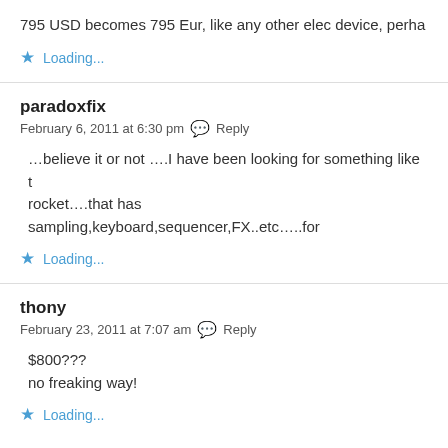795 USD becomes 795 Eur, like any other elec device, perha
Loading...
paradoxfix
February 6, 2011 at 6:30 pm  Reply
…believe it or not ….I have been looking for something like t rocket….that has sampling,keyboard,sequencer,FX..etc…..for
Loading...
thony
February 23, 2011 at 7:07 am  Reply
$800???
no freaking way!
Loading...